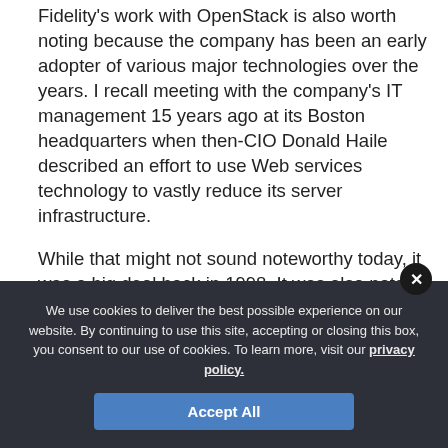Fidelity's work with OpenStack is also worth noting because the company has been an early adopter of various major technologies over the years. I recall meeting with the company's IT management 15 years ago at its Boston headquarters when then-CIO Donald Haile described an effort to use Web services technology to vastly reduce its server infrastructure.
While that might not sound noteworthy today, it was a big deal back in 1998. It was also notable because despite the fact that Fidelity is one of the largest mutual fund providers and runs one of the top online trading, 401k and pension plan operations, it's also one of the largest privately held companies
POPULAR
We use cookies to deliver the best possible experience on our website. By continuing to use this site, accepting or closing this box, you consent to our use of cookies. To learn more, visit our privacy policy.
Accept All